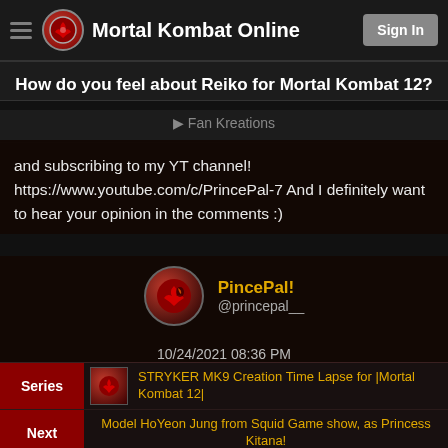Mortal Kombat Online — Sign In
How do you feel about Reiko for Mortal Kombat 12?
Fan Kreations
and subscribing to my YT channel! https://www.youtube.com/c/PrincePal-7 And I definitely want to hear your opinion in the comments :)
PincePal!
@princepal__
10/24/2021 08:36 PM
Series — STRYKER MK9 Creation Time Lapse for |Mortal Kombat 12|
Next — Model HoYeon Jung from Squid Game show, as Princess Kitana!
Previous — ????MEET TANYA • New Design! |